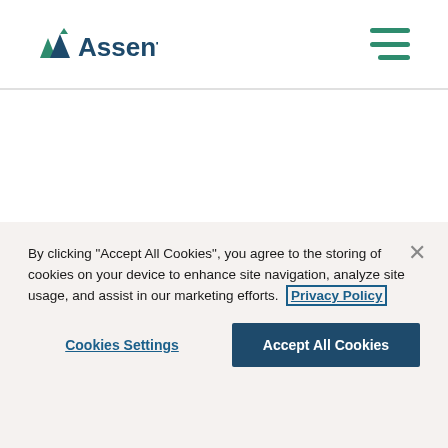[Figure (logo): Assent company logo in dark teal/blue color, top left of navigation bar]
[Figure (other): Hamburger menu icon in teal color, top right of navigation bar]
[Figure (logo): Large white Assent company logo centered on dark blue background section]
By clicking "Accept All Cookies", you agree to the storing of cookies on your device to enhance site navigation, analyze site usage, and assist in our marketing efforts. Privacy Policy
Cookies Settings
Accept All Cookies